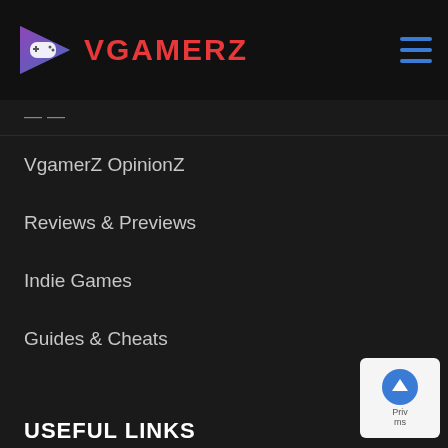VGAMERZ
VgamerZ OpinionZ
Reviews & Previews
Indie Games
Guides & Cheats
USEFUL LINKS
Submit Your Sponsored Post
Write For Us As A Contributor
Privacy Policy
Disclaimer